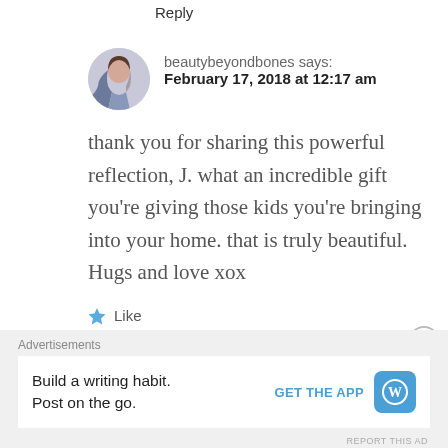Reply
beautybeyondbones says:
February 17, 2018 at 12:17 am
thank you for sharing this powerful reflection, J. what an incredible gift you’re giving those kids you’re bringing into your home. that is truly beautiful. Hugs and love xox
★ Like
Reply
Advertisements
Build a writing habit. Post on the go.
GET THE APP